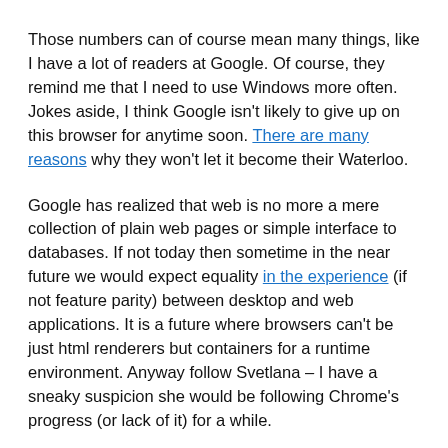Those numbers can of course mean many things, like I have a lot of readers at Google. Of course, they remind me that I need to use Windows more often. Jokes aside, I think Google isn't likely to give up on this browser for anytime soon. There are many reasons why they won't let it become their Waterloo.
Google has realized that web is no more a mere collection of plain web pages or simple interface to databases. If not today then sometime in the near future we would expect equality in the experience (if not feature parity) between desktop and web applications. It is a future where browsers can't be just html renderers but containers for a runtime environment. Anyway follow Svetlana – I have a sneaky suspicion she would be following Chrome's progress (or lack of it) for a while.